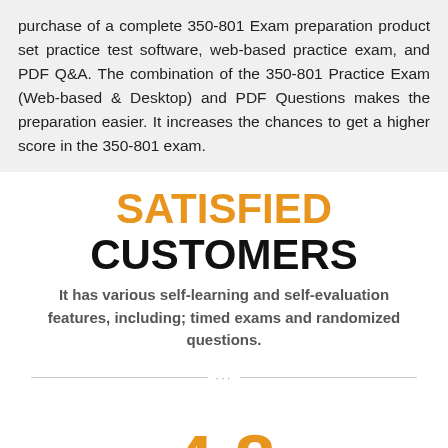purchase of a complete 350-801 Exam preparation product set practice test software, web-based practice exam, and PDF Q&A. The combination of the 350-801 Practice Exam (Web-based & Desktop) and PDF Questions makes the preparation easier. It increases the chances to get a higher score in the 350-801 exam.
SATISFIED CUSTOMERS
It has various self-learning and self-evaluation features, including; timed exams and randomized questions.
4.8
OUT OF 5